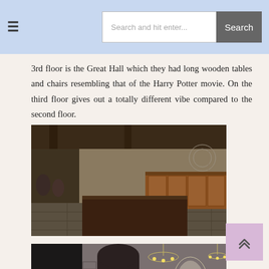≡  Search and hit enter...  Search
3rd floor is the Great Hall which they had long wooden tables and chairs resembling that of the Harry Potter movie. On the third floor gives out a totally different vibe compared to the second floor.
[Figure (photo): Interior of a restaurant resembling a Great Hall with long wooden tables and chairs, exposed beam ceiling, stone-tiled floor, and a wooden counter/bar area. People are seated at the tables.]
[Figure (photo): Interior photo showing stone walls, an arched doorway, chandelier lighting, and decorative elements resembling a Harry Potter themed space.]